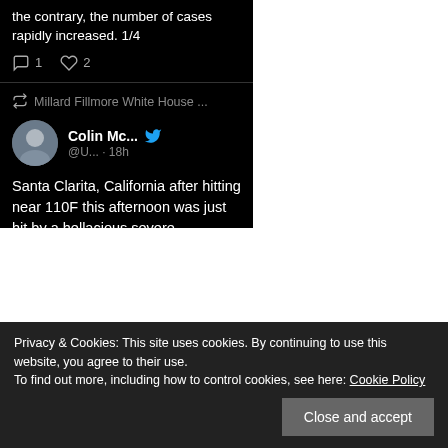the contrary, the number of cases rapidly increased. 1/4
1 reply, 2 likes
Millard Fillmore White House ...
Colin Mc... @U... · 18h
Santa Clarita, California after hitting near 110F this afternoon was just hit by a hellacious severe thunderstorm bringing 60 mph wind
Privacy & Cookies: This site uses cookies. By continuing to use this website, you agree to their use. To find out more, including how to control cookies, see here: Cookie Policy
Close and accept